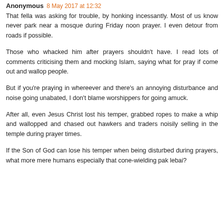Anonymous 8 May 2017 at 12:32
That fella was asking for trouble, by honking incessantly. Most of us know never park near a mosque during Friday noon prayer. I even detour from roads if possible.
Those who whacked him after prayers shouldn't have. I read lots of comments criticising them and mocking Islam, saying what for pray if come out and wallop people.
But if you're praying in whereever and there's an annoying disturbance and noise going unabated, I don't blame worshippers for going amuck.
After all, even Jesus Christ lost his temper, grabbed ropes to make a whip and wallopped and chased out hawkers and traders noisily selling in the temple during prayer times.
If the Son of God can lose his temper when being disturbed during prayers, what more mere humans especially that cone-wielding pak lebai?